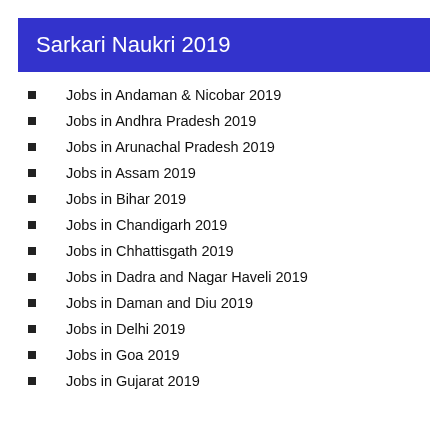Sarkari Naukri 2019
Jobs in Andaman & Nicobar 2019
Jobs in Andhra Pradesh 2019
Jobs in Arunachal Pradesh 2019
Jobs in Assam 2019
Jobs in Bihar 2019
Jobs in Chandigarh 2019
Jobs in Chhattisgath 2019
Jobs in Dadra and Nagar Haveli 2019
Jobs in Daman and Diu 2019
Jobs in Delhi 2019
Jobs in Goa 2019
Jobs in Gujarat 2019